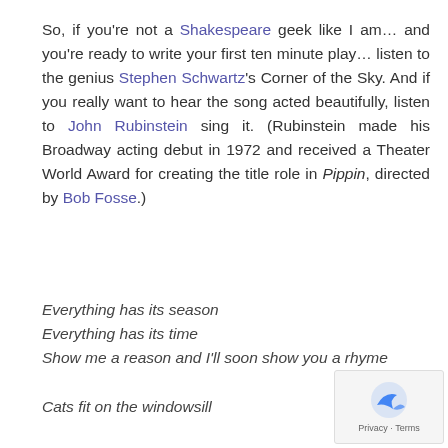So, if you're not a Shakespeare geek like I am… and you're ready to write your first ten minute play… listen to the genius Stephen Schwartz's Corner of the Sky. And if you really want to hear the song acted beautifully, listen to John Rubinstein sing it. (Rubinstein made his Broadway acting debut in 1972 and received a Theater World Award for creating the title role in Pippin, directed by Bob Fosse.)
Everything has its season
Everything has its time
Show me a reason and I'll soon show you a rhyme
Cats fit on the windowsill
[Figure (logo): Google reCAPTCHA privacy badge with blue arrow icon and Privacy · Terms text]